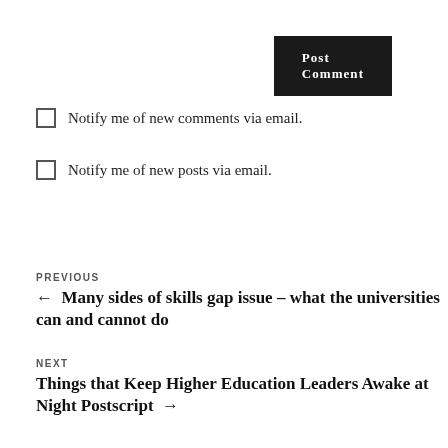Post Comment
Notify me of new comments via email.
Notify me of new posts via email.
PREVIOUS
← Many sides of skills gap issue – what the universities can and cannot do
NEXT
Things that Keep Higher Education Leaders Awake at Night Postscript →